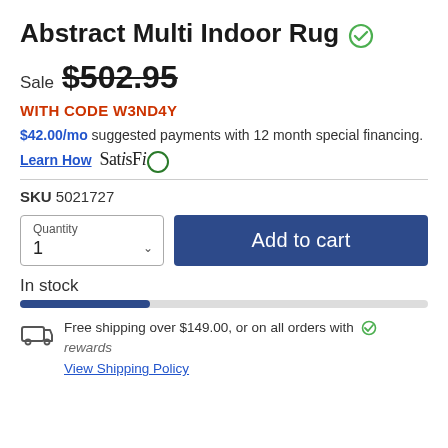Abstract Multi Indoor Rug
Sale $502.95
WITH CODE W3ND4Y
$42.00/mo suggested payments with 12 month special financing.
Learn How  SatisFi
SKU 5021727
Quantity 1  Add to cart
In stock
Free shipping over $149.00, or on all orders with rewards
View Shipping Policy